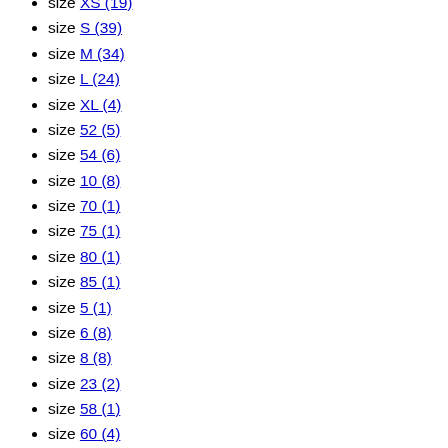size XS (19)
size S (39)
size M (34)
size L (24)
size XL (4)
size 52 (5)
size 54 (6)
size 10 (8)
size 70 (1)
size 75 (1)
size 80 (1)
size 85 (1)
size 5 (1)
size 6 (8)
size 8 (8)
size 23 (2)
size 58 (1)
size 60 (4)
size 62 (4)
size 23 – 24 (1)
size 25 – 26 (1)
size 27 – 28 (1)
size 29 – 30 (1)
size 31 – 32 (1)
size LL (142)